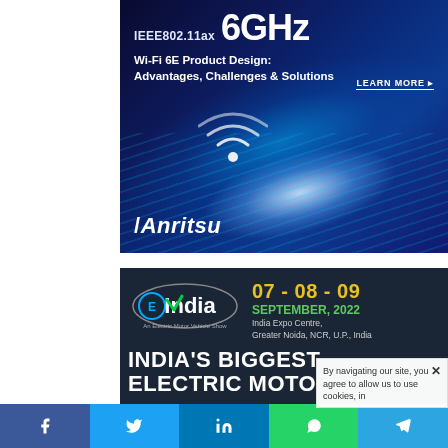[Figure (infographic): Anritsu advertisement banner for IEEE802.11ax 6GHz Wi-Fi 6E Product Design: Advantages, Challenges & Solutions with LEARN MORE button, Wi-Fi icon, blue glowing background with light streaks, and Anritsu logo]
[Figure (infographic): EV India advertisement: An Electric Motor Vehicle Show, 07-08-09 September 2022, India Expo Centre, Greater Noida, NCR, U.P., India. India's Biggest Electric Motor show banner with dark navy background]
By navigating our site, you agree to allow us to use cookies, in